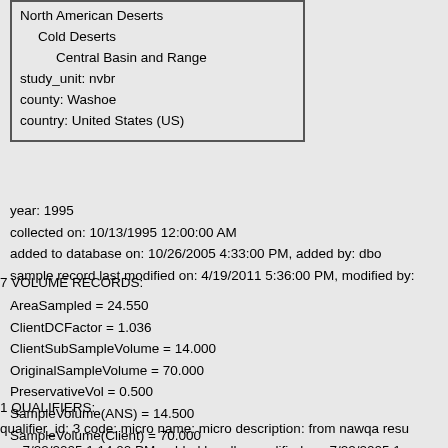North American Deserts
  Cold Deserts
    Central Basin and Range
study_unit: nvbr
county: Washoe
country: United States (US)
year: 1995
collected on: 10/13/1995 12:00:00 AM
added to database on: 10/26/2005 4:33:00 PM, added by: dbo
sample record last modified on: 4/19/2011 5:36:00 PM, modified by:
7 VOLUME RECORDS:
AreaSampled = 24.550
ClientDCFactor = 1.036
ClientSubSampleVolume = 14.000
OriginalSampleVolume = 70.000
PreservativeVol = 0.500
SampleVolume(ANS) = 14.500
SampleVolume(Client) = 70.000
1 QUALIFIERS:
qualifier_id: 3 code: micro name: micro description: from nawqa resu on: 7/22/2005 1:14:00 PM, added by: dbo modified on: 7/22/2005 1::